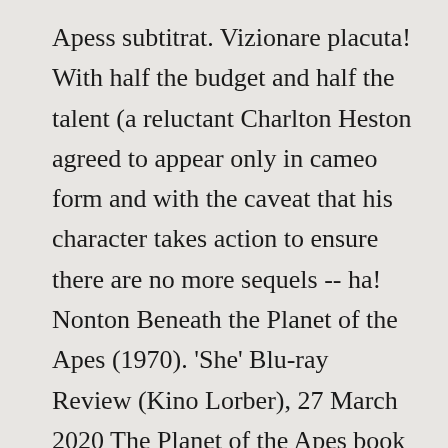Apess subtitrat. Vizionare placuta! With half the budget and half the talent (a reluctant Charlton Heston agreed to appear only in cameo form and with the caveat that his character takes action to ensure there are no more sequels -- ha! Nonton Beneath the Planet of the Apes (1970). 'She' Blu-ray Review (Kino Lorber), 27 March 2020 The Planet of the Apes book is something quite different and was adapted into the first movie where they changed things quite a bit. Astronot Brent dikirim untuk menyelamatkan Taylor tetapi tanah kecelakaan di Planet of the Apes, seperti Taylor lakukan dalam film aslinya. I wonder if there is an adaptation of the original movie anywhere? Check if it is available to stream online via